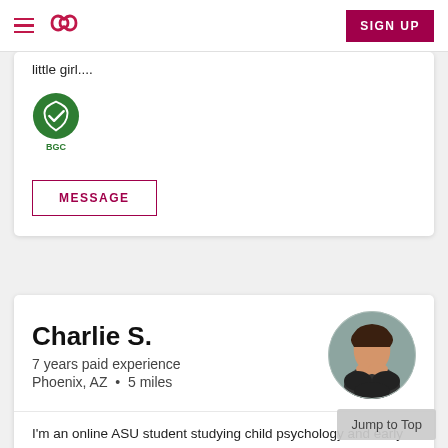SIGN UP
little girl....
[Figure (logo): BGC background check badge - green circle with shield and checkmark icon, labeled BGC]
MESSAGE
Charlie S.
7 years paid experience
Phoenix, AZ  • 5 miles
[Figure (photo): Circular profile photo of a woman with long dark hair smiling with a child]
I'm an online ASU student studying child psychology and early childhood education. I am working towards a maste... and I plan to continue my nanny career even after I am finished with school.